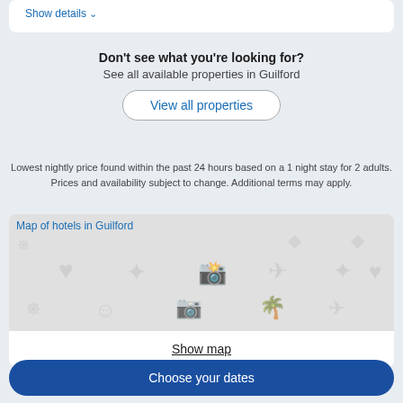Show details ∨
Don't see what you're looking for?
See all available properties in Guilford
View all properties
Lowest nightly price found within the past 24 hours based on a 1 night stay for 2 adults. Prices and availability subject to change. Additional terms may apply.
[Figure (map): Map of hotels in Guilford showing a gray map with faded travel/hotel icons]
Show map
Choose your dates